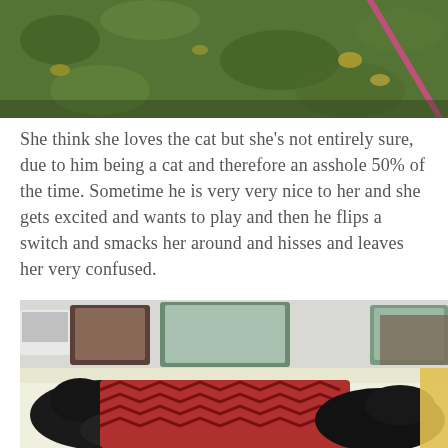[Figure (photo): Top portion of outdoor photo showing green grass/ground cover with leaves and a pink/red strap or leash visible]
She think she loves the cat but she's not entirely sure, due to him being a cat and therefore an asshole 50% of the time. Sometime he is very very nice to her and she gets excited and wants to play and then he flips a switch and smacks her around and hisses and leaves her very confused.
[Figure (photo): Indoor photo of a bed with white/yellow bedding, a dark cat and person covered in a red and black patterned blanket, with a window and furniture visible in the background]